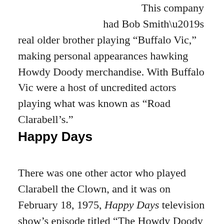This company had Bob Smith's real older brother playing “Buffalo Vic,” making personal appearances hawking Howdy Doody merchandise. With Buffalo Vic were a host of uncredited actors playing what was known as “Road Clarabell’s.”
Happy Days
There was one other actor who played Clarabell the Clown, and it was on February 18, 1975, Happy Days television show’s episode titled “The Howdy Doody Show.” In this episode, the